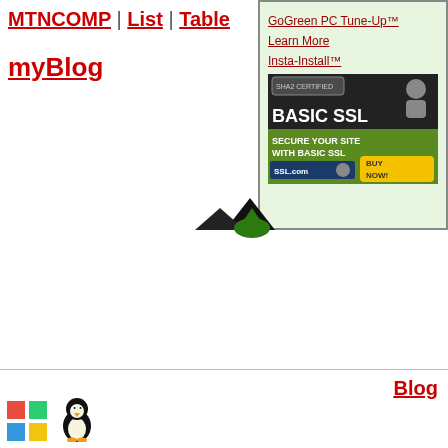MTNCOMP | List | Table
myBlog
[Figure (screenshot): Sidebar with green background containing links: GoGreen PC Tune-Up™, Learn More, Insta-Install™, and SSL certificate advertisement banner]
[Figure (illustration): Small mountain/landscape icon in the center of the page]
Blog
[Figure (logo): Windows logo and Linux Tux penguin icons at bottom left]